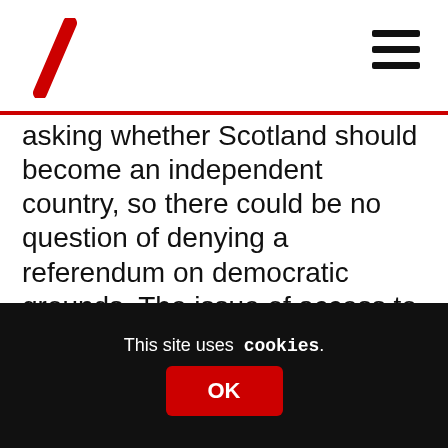asking whether Scotland should become an independent country, so there could be no question of denying a referendum on democratic grounds. The issue of access to EU markets would be neutralised; the Isle of Man has full access for goods, and anyone with a British grandparent has access as a worker. In fact, we would even have our own passports.[1] Another advantage is that, because there is already a territory with the status in question, everyone will be clear on
This site uses cookies.
OK